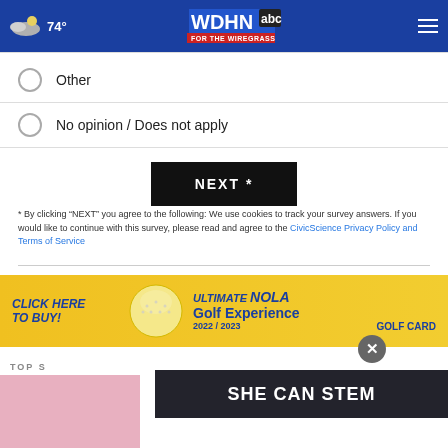[Figure (screenshot): WDHN ABC 'For the Wiregrass' news website header with weather (74°) and hamburger menu]
Other
No opinion / Does not apply
NEXT *
* By clicking "NEXT" you agree to the following: We use cookies to track your survey answers. If you would like to continue with this survey, please read and agree to the CivicScience Privacy Policy and Terms of Service
[Figure (infographic): Advertisement: CLICK HERE TO BUY! ULTIMATE NOLA Golf Experience 2022/2023 GOLF CARD]
TOP S
[Figure (infographic): SHE CAN STEM banner overlay]